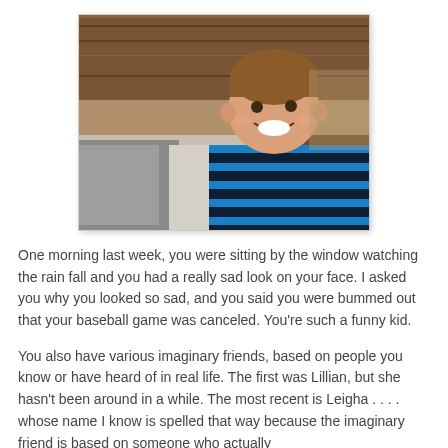[Figure (photo): A smiling young toddler boy with short brown hair, wearing a blue and black striped shirt, sitting on a bed with pillows and a dark wooden headboard in the background.]
One morning last week, you were sitting by the window watching the rain fall and you had a really sad look on your face. I asked you why you looked so sad, and you said you were bummed out that your baseball game was canceled. You're such a funny kid.
You also have various imaginary friends, based on people you know or have heard of in real life. The first was Lillian, but she hasn't been around in a while. The most recent is Leigha . . . . whose name I know is spelled that way because the imaginary friend is based on someone who actually